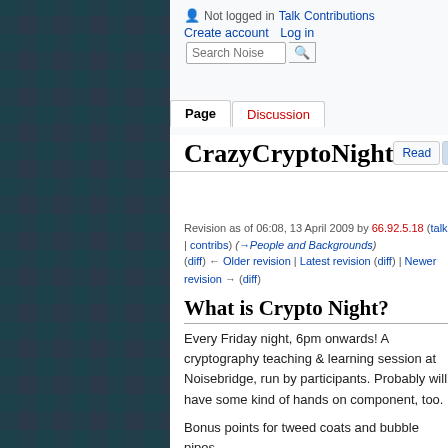Not logged in  Talk  Contributions  Create account  Log in
Page  Discussion  Read  Edit  View history
CrazyCryptoNight
Revision as of 06:08, 13 April 2009 by 66.92.5.18 (talk | contribs) (→People and Backgrounds)
(diff) ← Older revision | Latest revision (diff) | Newer revision → (diff)
What is Crypto Night?
Every Friday night, 6pm onwards! A cryptography teaching & learning session at Noisebridge, run by participants. Probably will have some kind of hands on component, too.
Bonus points for tweed coats and bubble pipes.
Noisebridge
Status: MOVED
Donate
About
Accessibility
Vision
Blog
MANUAL
Visitors
Participation
Community Standards
Channels
Operations
EVENTS